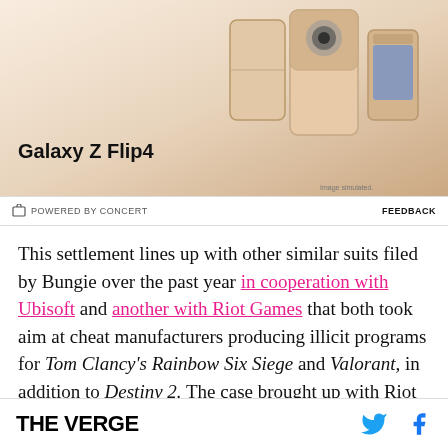[Figure (photo): Samsung Galaxy Z Flip4 advertisement banner showing the foldable phone in gold/pink color against a beige/tan background with text 'Galaxy Z Flip4' and small 'Image simulated.' disclaimer]
⊢ POWERED BY CONCERT    FEEDBACK
This settlement lines up with other similar suits filed by Bungie over the past year in cooperation with Ubisoft and another with Riot Games that both took aim at cheat manufacturers producing illicit programs for Tom Clancy's Rainbow Six Siege and Valorant, in addition to Destiny 2. The case brought up with Riot Games yielded $2 million in damages to the developers, while the joint case with Ubisoft is still pending litigation.
THE VERGE